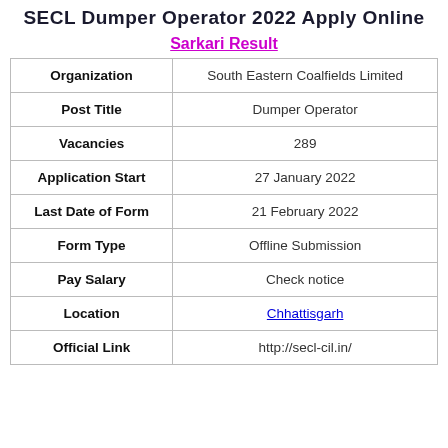SECL Dumper Operator 2022 Apply Online
Sarkari Result
| Field | Value |
| --- | --- |
| Organization | South Eastern Coalfields Limited |
| Post Title | Dumper Operator |
| Vacancies | 289 |
| Application Start | 27 January 2022 |
| Last Date of Form | 21 February 2022 |
| Form Type | Offline Submission |
| Pay Salary | Check notice |
| Location | Chhattisgarh |
| Official Link | http://secl-cil.in/ |